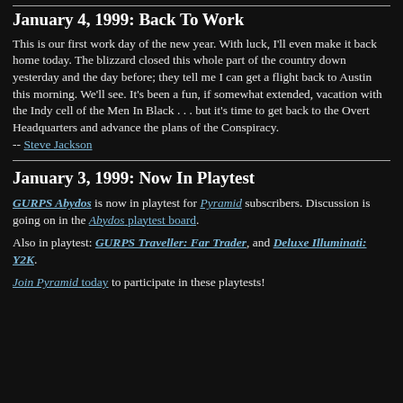January 4, 1999: Back To Work
This is our first work day of the new year. With luck, I'll even make it back home today. The blizzard closed this whole part of the country down yesterday and the day before; they tell me I can get a flight back to Austin this morning. We'll see. It's been a fun, if somewhat extended, vacation with the Indy cell of the Men In Black . . . but it's time to get back to the Overt Headquarters and advance the plans of the Conspiracy.
-- Steve Jackson
January 3, 1999: Now In Playtest
GURPS Abydos is now in playtest for Pyramid subscribers. Discussion is going on in the Abydos playtest board.
Also in playtest: GURPS Traveller: Far Trader, and Deluxe Illuminati: Y2K.
Join Pyramid today to participate in these playtests!